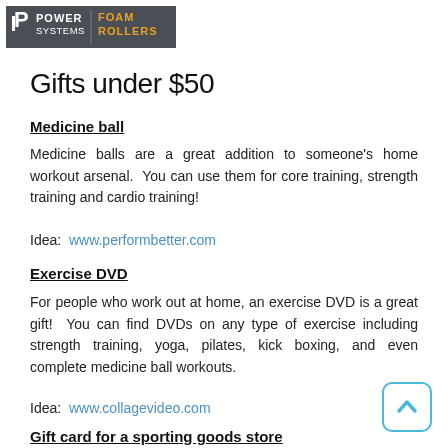[Figure (logo): Power Systems Foam Rollers logo banner with dark grey background, white 'POWER SYSTEMS' text and orange 'FOAM ROLLERS' text]
Gifts under $50
Medicine ball
Medicine balls are a great addition to someone's home workout arsenal.  You can use them for core training, strength training and cardio training!
Idea:  www.performbetter.com
Exercise DVD
For people who work out at home, an exercise DVD is a great gift!  You can find DVDs on any type of exercise including strength training, yoga, pilates, kick boxing, and even complete medicine ball workouts.
Idea:  www.collagevideo.com
Gift card for a sporting goods store